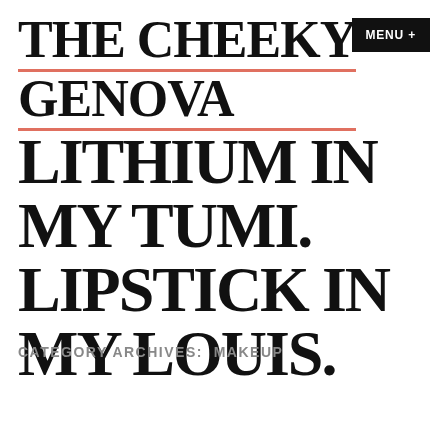THE CHEEKY GENOVA
MENU +
LITHIUM IN MY TUMI. LIPSTICK IN MY LOUIS.
CATEGORY ARCHIVES:  MAKEUP